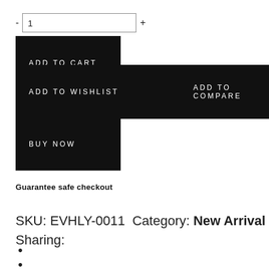- 1 +
ADD TO CART
ADD TO WISHLIST
ADD TO COMPARE
BUY NOW
Guarantee safe checkout
SKU: EVHLY-0011 Category: New Arrival
Sharing:
•
•